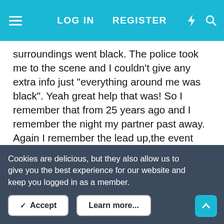LOG IN   REGISTER
surroundings went black. The police took me to the scene and I couldn't give any extra info just "everything around me was black". Yeah great help that was! So I remember that from 25 years ago and I remember the night my partner past away. Again I remember the lead up,the event and pretty much every detail of that night and a few weeks after. Then everything after the funeral goes a bit blurry. It's like my life was on fast forward.

It's not just little things I forget but it's quite important things as well. Is this normal?

I also can't remember my partners face or voice.

I have photos of him but I always think that they are not what
Cookies are delicious, but they also allow us to give you the best experience for our website and keep you logged in as a member.